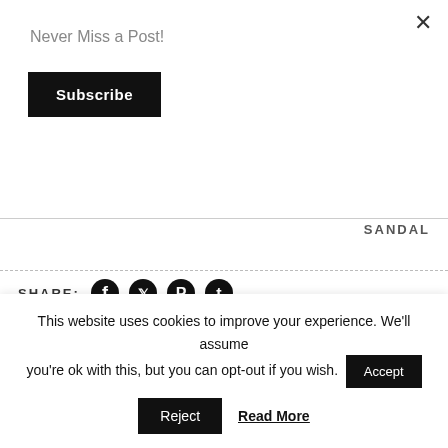×
Never Miss a Post!
Subscribe
SANDAL
SHARE:
[Figure (other): Social media share icons: Facebook, Twitter, Pinterest, Tumblr]
ALSO ON THIS BLONDE'S SHOPPING BAG
This site uses cookies to deliver its services and to analyse traffic. By using this site, you
This website uses cookies to improve your experience. We'll assume you're ok with this, but you can opt-out if you wish.
Accept
Reject
Read More